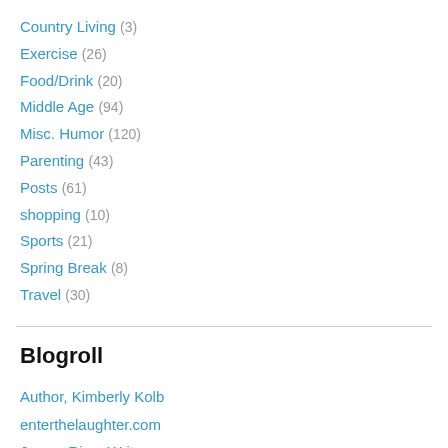Country Living (3)
Exercise (26)
Food/Drink (20)
Middle Age (94)
Misc. Humor (120)
Parenting (43)
Posts (61)
shopping (10)
Sports (21)
Spring Break (8)
Travel (30)
Blogroll
Author, Kimberly Kolb
enterthelaughter.com
James River Writers
newsart